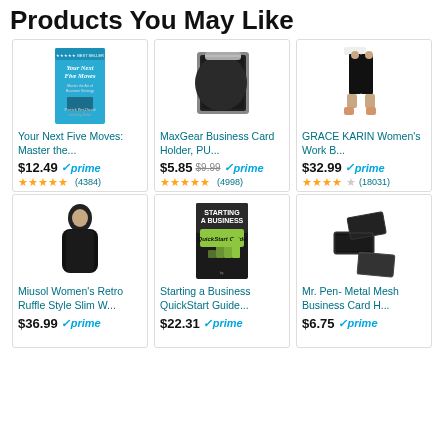Products You May Like
[Figure (screenshot): Amazon product recommendation grid showing 6 products: Your Next Five Moves book, MaxGear Business Card Holder, GRACE KARIN Women's Work Bottoms, Miusol Women's Retro Ruffle Style Slim dress, Starting a Business QuickStart Guide book, Mr. Pen Metal Mesh Business Card Holder. Each product shows image, name, price, prime badge, star rating and review count.]